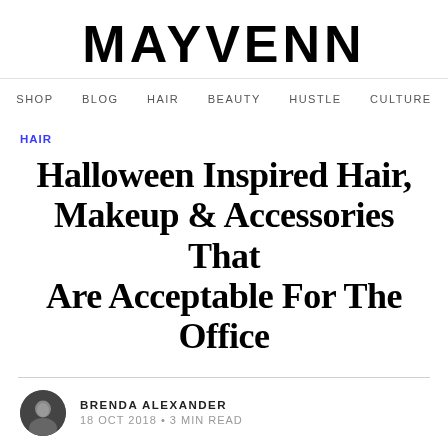MAYVENN
SHOP  BLOG  HAIR  BEAUTY  HUSTLE  CULTURE
HAIR
Halloween Inspired Hair, Makeup & Accessories That Are Acceptable For The Office
BRENDA ALEXANDER
18 OCT 2018 • 3 MIN READ